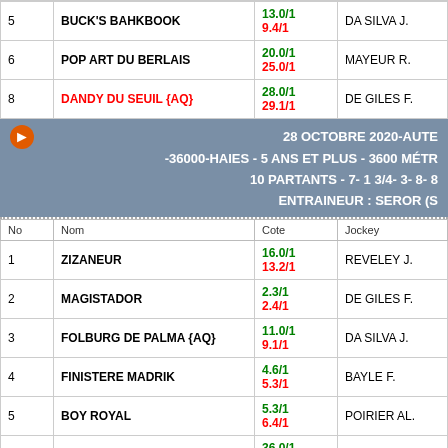| No | Nom | Cote | Jockey |
| --- | --- | --- | --- |
| 5 | BUCK'S BAHKBOOK | 13.0/1
9.4/1 | DA SILVA J. |
| 6 | POP ART DU BERLAIS | 20.0/1
25.0/1 | MAYEUR R. |
| 8 | DANDY DU SEUIL {AQ} | 28.0/1
29.1/1 | DE GILES F. |
28 OCTOBRE 2020-AUTEUIL -36000-HAIES - 5 ANS ET PLUS - 3600 MÈTRES 10 PARTANTS - 7- 1 3/4- 3- 8- 8 ENTRAINEUR : SEROR (S)
| No | Nom | Cote | Jockey |
| --- | --- | --- | --- |
| 1 | ZIZANEUR | 16.0/1
13.2/1 | REVELEY J. |
| 2 | MAGISTADOR | 2.3/1
2.4/1 | DE GILES F. |
| 3 | FOLBURG DE PALMA {AQ} | 11.0/1
9.1/1 | DA SILVA J. |
| 4 | FINISTERE MADRIK | 4.6/1
5.3/1 | BAYLE F. |
| 5 | BOY ROYAL | 5.3/1
6.4/1 | POIRIER AL. |
| 6 | RASTER | 36.0/1
37.1/1 | FARCINADE |